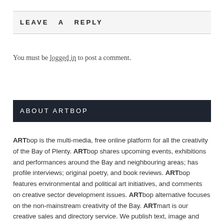LEAVE A REPLY
You must be logged in to post a comment.
ABOUT ARTBOP
ARTbop is the multi-media, free online platform for all the creativity of the Bay of Plenty. ARTbop shares upcoming events, exhibitions and performances around the Bay and neighbouring areas; has profile interviews; original poetry, and book reviews. ARTbop features environmental and political art initiatives, and comments on creative sector development issues. ARTbop alternative focuses on the non-mainstream creativity of the Bay. ARTmart is our creative sales and directory service. We publish text, image and video. There are two facebook pages; Twitter, YouTube and Instagram. We have a subscribers' email and